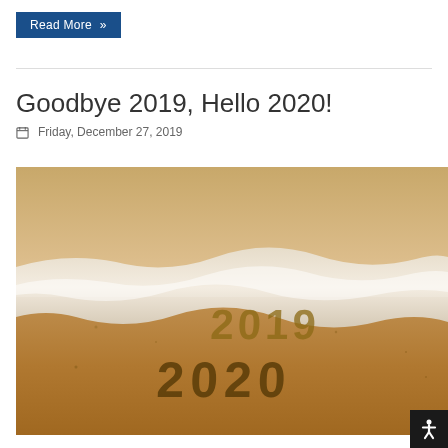Read More »
Goodbye 2019, Hello 2020!
Friday, December 27, 2019
[Figure (photo): Beach sand photo showing the years 2019 being washed away by ocean waves and 2020 written in the sand below it.]